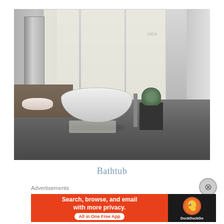[Figure (photo): Luxury hotel bathroom with a large oval freestanding white bathtub in the center, marble walls and floors, floor-to-ceiling windows with white roller shades, a vanity counter with a vessel sink on the left, a freestanding bathtub faucet, a black side table with an orchid plant, and a reflective dark marble floor.]
Bathtub
Advertisements
[Figure (screenshot): DuckDuckGo advertisement banner with orange background on left side reading 'Search, browse, and email with more privacy. All in One Free App' and on right side black background with DuckDuckGo duck logo and brand name.]